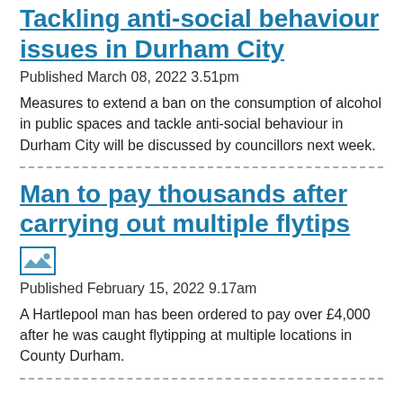Tackling anti-social behaviour issues in Durham City
Published March 08, 2022 3.51pm
Measures to extend a ban on the consumption of alcohol in public spaces and tackle anti-social behaviour in Durham City will be discussed by councillors next week.
Man to pay thousands after carrying out multiple flytips
[Figure (photo): Thumbnail image icon placeholder]
Published February 15, 2022 9.17am
A Hartlepool man has been ordered to pay over £4,000 after he was caught flytipping at multiple locations in County Durham.